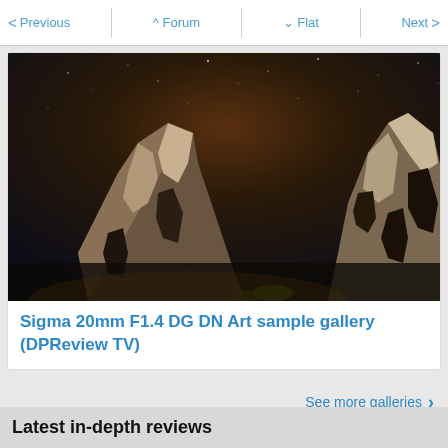< Previous   ^ Forum   v Flat   Next >
[Figure (photo): Night photo of large rock formations under a starry sky, dramatic lighting from below illuminating the rocky surfaces against a dark brownish-orange sky]
Sigma 20mm F1.4 DG DN Art sample gallery (DPReview TV)
See more galleries >
Latest in-depth reviews